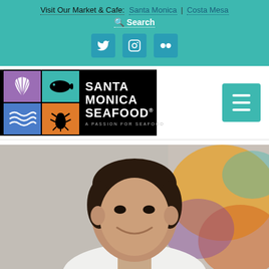Visit Our Market & Cafe: Santa Monica | Costa Mesa
🔍 Search
[Figure (logo): Santa Monica Seafood logo with four colored grid squares (purple scallop, teal fish, blue waves, orange lobster) and text 'SANTA MONICA SEAFOOD. A PASSION FOR SEAFOOD' on black background]
[Figure (photo): Portrait photo of a smiling man with dark hair, wearing a white chef's coat, with a colorful blurred background]